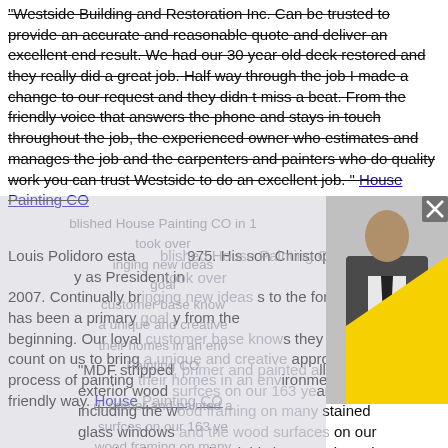"Westside Building and Restoration Inc. Can be trusted to provide an accurate and reasonable quote and deliver an excellent end result. We had our 30 year old deck restored and they really did a great job. Half way through the job I made a change to our request and they didn t miss a beat. From the friendly voice that answers the phone and stays in touch throughout the job, the experienced owner who estimates and manages the job and the carpenters and painters who do quality work you can trust Westside to do an excellent job. " House Painting CO
Louis Polidoro established House Painting CO in 1975. His son Christopher Polidoro took over as President in 2007. Continually bringing new ideas to the forefront has been a primary goal from the beginning. Our loyal customer base knows they can always count on us to bring a unique and creative approach to the process of painting their homes in an environmentally friendly way. House Painting CO
[Figure (photo): A photo showing a person in a suit with a yellow triangular shape visible, overlaid with a semi-transparent gray panel and a close/X button.]
"MDF stripped, primer and painted all of the exterior wood surfces on our 163 year old church, including the wood framing on many stained glass windows and the wood surfaces on our steeple. They completed this large scale project in just over three weeks, and their workmanship